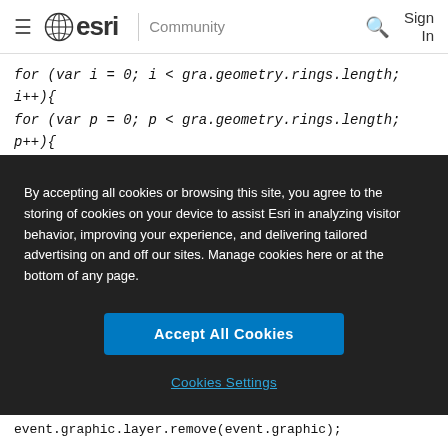esri Community Sign In
for (var i = 0; i < gra.geometry.rings.length; i++){
for (var p = 0; p < gra.geometry.rings.length; p++){
crmLatitude = String(gra.geometry.rings);
crmLongitude = String(gra.geometry.rings
By accepting all cookies or browsing this site, you agree to the storing of cookies on your device to assist Esri in analyzing visitor behavior, improving your experience, and delivering tailored advertising on and off our sites. Manage cookies here or at the bottom of any page.
Accept All Cookies
Cookies Settings
event.graphic.layer.remove(event.graphic);